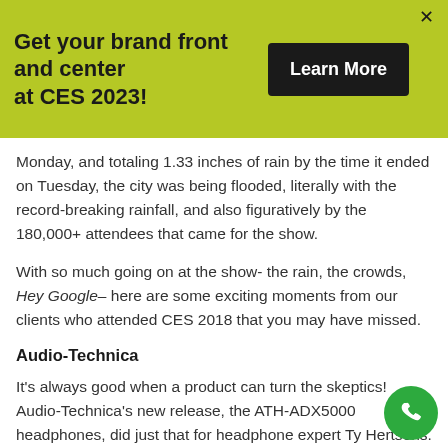Get your brand front and center at CES 2023!
Monday, and totaling 1.33 inches of rain by the time it ended on Tuesday, the city was being flooded, literally with the record-breaking rainfall, and also figuratively by the 180,000+ attendees that came for the show.
With so much going on at the show- the rain, the crowds, Hey Google– here are some exciting moments from our clients who attended CES 2018 that you may have missed.
Audio-Technica
It's always good when a product can turn the skeptics! Audio-Technica's new release, the ATH-ADX5000 headphones, did just that for headphone expert Ty Hertsens. You can see his reaction to the all-new